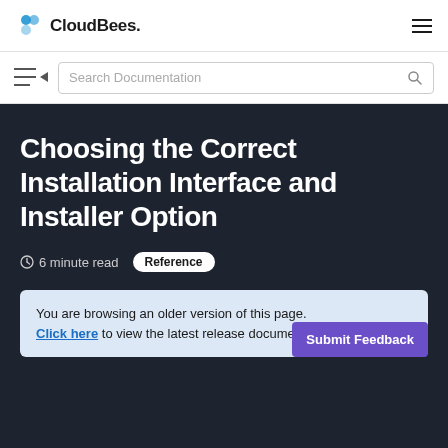CloudBees.
Search Documentation
Choosing the Correct Installation Interface and Installer Option
6 minute read  Reference
You are browsing an older version of this page. Click here to view the latest release documentation.